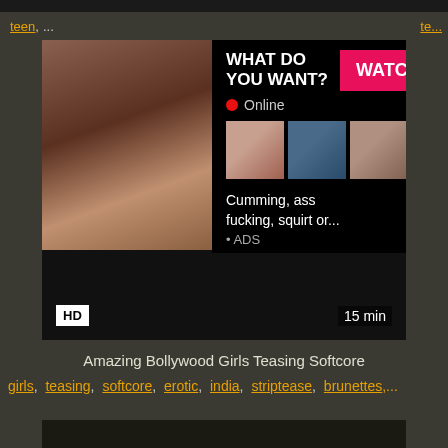teen, te...
[Figure (screenshot): Adult video website screenshot showing a video thumbnail of a woman, with an advertisement overlay reading 'WHAT DO YOU WANT? WATCH • Online' with thumbnails and text 'Cumming, ass fucking, squirt or... • ADS'. Video has HD badge and 15 min duration label.]
Amazing Bollywood Girls Teasing Softcore
girls, teasing, softcore, erotic, india, striptease, brunettes,...